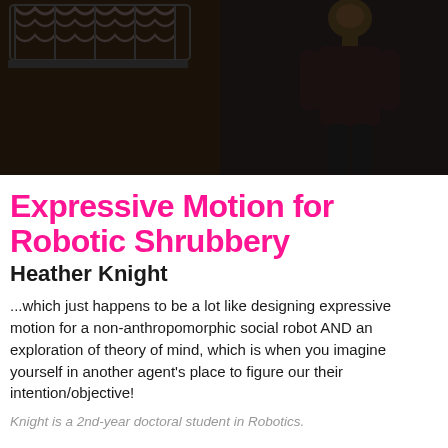[Figure (photo): Dark theatrical/performance photo with decorative iron railing/gate on left and a figure/person visible on right side against a black background]
Expressive Motion for Robotic Shrubbery
Heather Knight
...which just happens to be a lot like designing expressive motion for a non-anthropomorphic social robot AND an exploration of theory of mind, which is when you imagine yourself in another agent's place to figure our their intention/objective!
Knight is a 2nd-year doctoral student in Robotics.